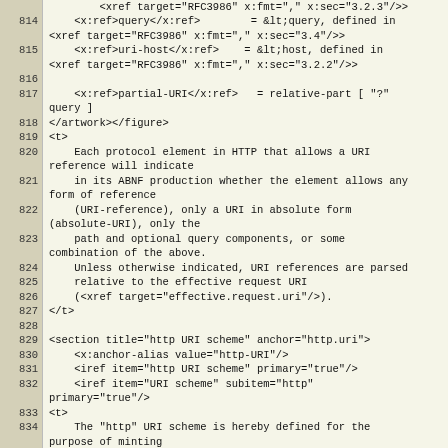Code listing lines 814-836 showing XML/RFC source content